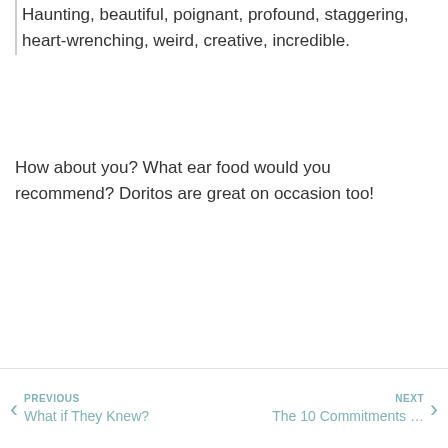Haunting, beautiful, poignant, profound, staggering, heart-wrenching, weird, creative, incredible.
How about you? What ear food would you recommend? Doritos are great on occasion too!
PREVIOUS What if They Knew? | NEXT The 10 Commitments …